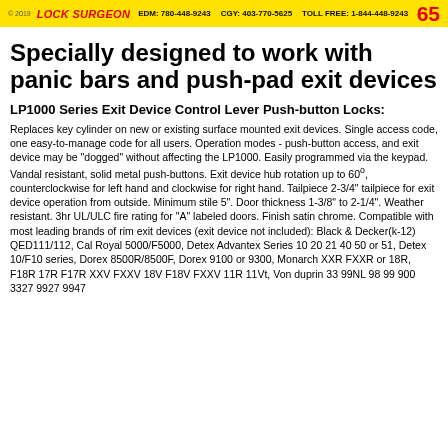© 2019   LOCK SURGEON   EDM: 780-448-9243   CGY: 403-770-5625   TOLL FREE: 1-844-448-9243   65
Specially designed to work with panic bars and push-pad exit devices
LP1000 Series Exit Device Control Lever Push-button Locks:
Replaces key cylinder on new or existing surface mounted exit devices. Single access code, one easy-to-manage code for all users. Operation modes - push-button access, and exit device may be "dogged" without affecting the LP1000. Easily programmed via the keypad. Vandal resistant, solid metal push-buttons. Exit device hub rotation up to 60°, counterclockwise for left hand and clockwise for right hand. Tailpiece 2-3/4" tailpiece for exit device operation from outside. Minimum stile 5". Door thickness 1-3/8" to 2-1/4". Weather resistant. 3hr UL/ULC fire rating for "A" labeled doors. Finish satin chrome. Compatible with most leading brands of rim exit devices (exit device not included): Black & Decker(k-12) QED111/112, Cal Royal 5000/F5000, Detex Advantex Series 10 20 21 40 50 or 51, Detex 10/F10 series, Dorex 8500R/8500F, Dorex 9100 or 9300, Monarch XXR FXXR or 18R, F18R 17R F17R XXV FXXV 18V F18V FXXV 11R 11Vt, Von duprin 33 99NL 98 99 900 3327 9927 9947